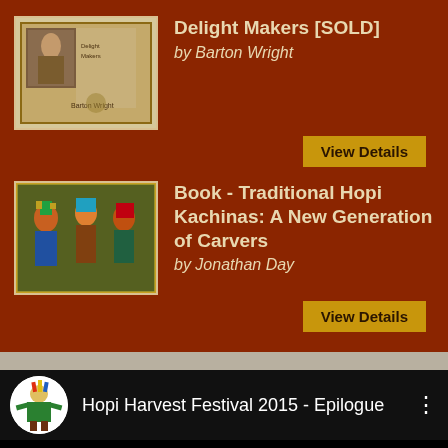Delight Makers [SOLD]
by Barton Wright
View Details
[Figure (photo): Book cover thumbnail for Delight Makers]
Book - Traditional Hopi Kachinas: A New Generation of Carvers
by Jonathan Day
View Details
[Figure (photo): Book cover thumbnail showing Hopi Kachinas]
[Figure (screenshot): YouTube video embed: Hopi Harvest Festival 2015 - Epilogue, with channel avatar and video thumbnail (black)]